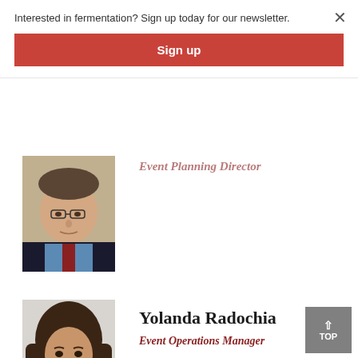Interested in fermentation? Sign up today for our newsletter.
Sign up
[Figure (photo): Partially visible photo of a man with glasses wearing a dark suit and blue shirt]
Event Planning Director
[Figure (photo): Photo of Yolanda Radochia, a woman with long dark hair wearing a dark jacket]
Yolanda Radochia
Event Operations Manager